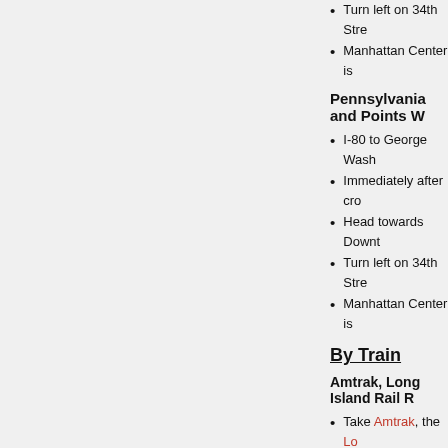Turn left on 34th Str...
Manhattan Center is...
Pennsylvania and Points W...
I-80 to George Wash...
Immediately after cro...
Head towards Downt...
Turn left on 34th Stree...
Manhattan Center is...
By Train
Amtrak, Long Island Rail R...
Take Amtrak, the Lo... Avenues.
From Penn Station y...
Metro North to Grand Cent...
Take the Metro North...
From Grand Central, you c...
Take a taxi to the Ma...
Take the Shuttle or 7... to 34th Street (walk a...
By Air